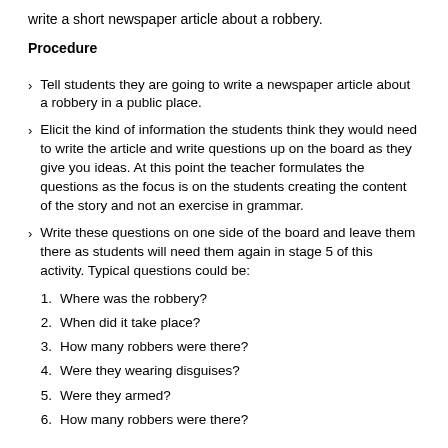write a short newspaper article about a robbery.
Procedure
Tell students they are going to write a newspaper article about a robbery in a public place.
Elicit the kind of information the students think they would need to write the article and write questions up on the board as they give you ideas. At this point the teacher formulates the questions as the focus is on the students creating the content of the story and not an exercise in grammar.
Write these questions on one side of the board and leave them there as students will need them again in stage 5 of this activity. Typical questions could be:
1. Where was the robbery?
2. When did it take place?
3. How many robbers were there?
4. Were they wearing disguises?
5. Were they armed?
6. How many robbers were there?